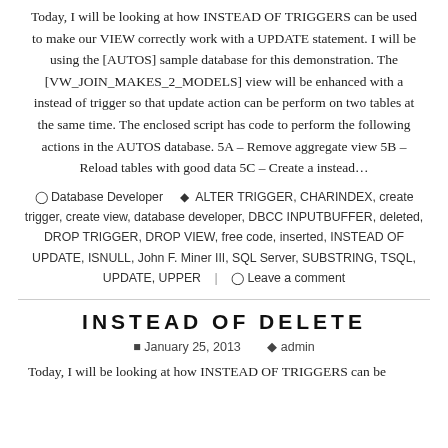Today, I will be looking at how INSTEAD OF TRIGGERS can be used to make our VIEW correctly work with a UPDATE statement. I will be using the [AUTOS] sample database for this demonstration. The [VW_JOIN_MAKES_2_MODELS] view will be enhanced with a instead of trigger so that update action can be perform on two tables at the same time. The enclosed script has code to perform the following actions in the AUTOS database. 5A – Remove aggregate view 5B – Reload tables with good data 5C – Create a instead...
Database Developer   ALTER TRIGGER, CHARINDEX, create trigger, create view, database developer, DBCC INPUTBUFFER, deleted, DROP TRIGGER, DROP VIEW, free code, inserted, INSTEAD OF UPDATE, ISNULL, John F. Miner III, SQL Server, SUBSTRING, TSQL, UPDATE, UPPER  |  Leave a comment
INSTEAD OF DELETE
January 25, 2013   admin
Today, I will be looking at how INSTEAD OF TRIGGERS can be